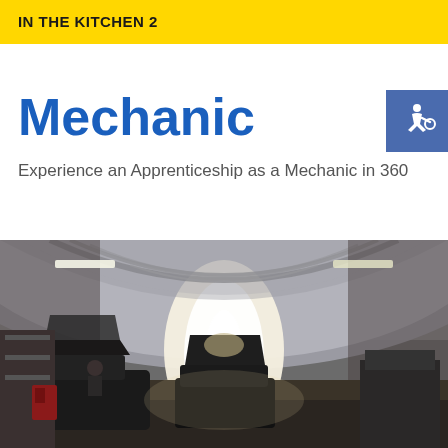IN THE KITCHEN 2
Mechanic
Experience an Apprenticeship as a Mechanic in 360
[Figure (photo): 360-degree panoramic photo of the interior of a mechanic garage workshop, showing a curved metallic ceiling with arched insulation panels, bright light from the entrance, cars being worked on, and garage equipment on the sides.]